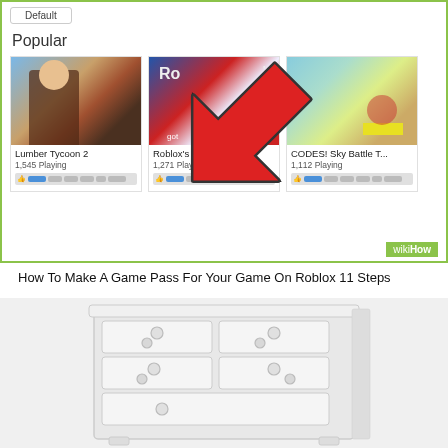[Figure (screenshot): Screenshot of Roblox game browser showing Popular games section with a red arrow cursor pointing to 'Roblox's Got Talent' game. Three game cards visible: Lumber Tycoon 2 (1,545 Playing), Roblox's Got Talent... (1,271 Playing), CODES! Sky Battle T... (1,112 Playing). WikiHow watermark in green bar at bottom right.]
How To Make A Game Pass For Your Game On Roblox 11 Steps
[Figure (photo): Photo of a white dresser/chest of drawers with multiple drawers and round knobs, shown against a white background.]